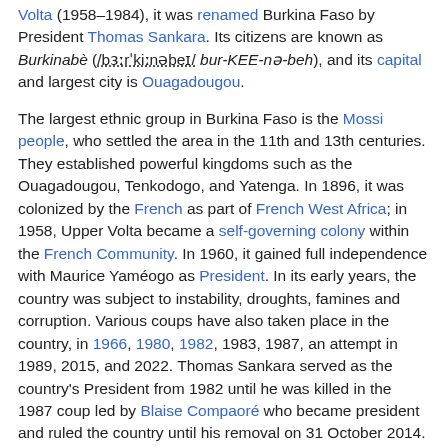Volta (1958–1984), it was renamed Burkina Faso by President Thomas Sankara. Its citizens are known as Burkinabè (/bɜːrˈkiːnəbeɪ/ bur-KEE-nə-beh), and its capital and largest city is Ouagadougou.
The largest ethnic group in Burkina Faso is the Mossi people, who settled the area in the 11th and 13th centuries. They established powerful kingdoms such as the Ouagadougou, Tenkodogo, and Yatenga. In 1896, it was colonized by the French as part of French West Africa; in 1958, Upper Volta became a self-governing colony within the French Community. In 1960, it gained full independence with Maurice Yaméogo as President. In its early years, the country was subject to instability, droughts, famines and corruption. Various coups have also taken place in the country, in 1966, 1980, 1982, 1983, 1987, an attempt in 1989, 2015, and 2022. Thomas Sankara served as the country's President from 1982 until he was killed in the 1987 coup led by Blaise Compaoré who became president and ruled the country until his removal on 31 October 2014. Sankara launched